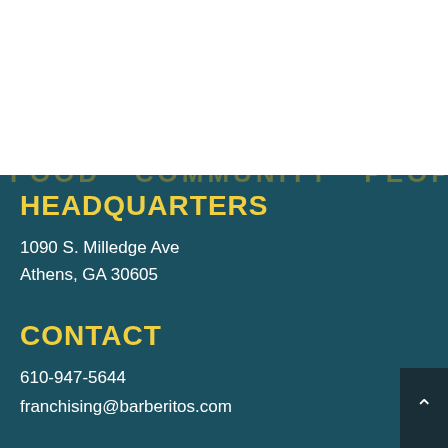[Figure (logo): Barberitos logo with yellow bold text, multicolor stripe, and tagline FOOD · COMMUNITY · PEOPLE]
HEADQUARTERS
1090 S. Milledge Ave
Athens, GA 30605
CONTACT
610-947-5644
franchising@barberitos.com
QUICK LINKS